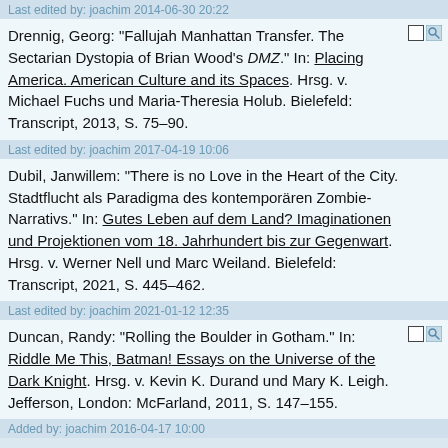Last edited by: joachim 2014-06-30 20:22
Drennig, Georg: "Fallujah Manhattan Transfer. The Sectarian Dystopia of Brian Wood's DMZ." In: Placing America. American Culture and its Spaces. Hrsg. v. Michael Fuchs und Maria-Theresia Holub. Bielefeld: Transcript, 2013, S. 75–90.
Last edited by: joachim 2017-04-19 10:06
Dubil, Janwillem: "There is no Love in the Heart of the City. Stadtflucht als Paradigma des kontemporären Zombie-Narrativs." In: Gutes Leben auf dem Land? Imaginationen und Projektionen vom 18. Jahrhundert bis zur Gegenwart. Hrsg. v. Werner Nell und Marc Weiland. Bielefeld: Transcript, 2021, S. 445–462.
Last edited by: joachim 2021-01-12 12:35
Duncan, Randy: "Rolling the Boulder in Gotham." In: Riddle Me This, Batman! Essays on the Universe of the Dark Knight. Hrsg. v. Kevin K. Durand und Mary K. Leigh. Jefferson, London: McFarland, 2011, S. 147–155.
Added by: joachim 2016-04-17 10:00